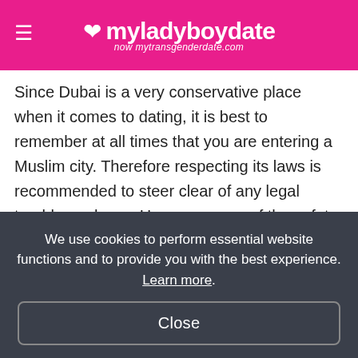myladyboydate — now mytransgenderdate.com
Since Dubai is a very conservative place when it comes to dating, it is best to remember at all times that you are entering a Muslim city. Therefore respecting its laws is recommended to steer clear of any legal troubles or harm. Here are some of the safety tips that My Ladyboy Date would like to share with you so you can date safely in Dubai.
Do not engage in public displays
We use cookies to perform essential website functions and to provide you with the best experience. Learn more.
Close